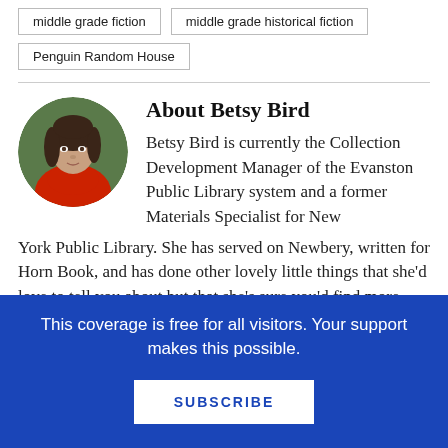middle grade fiction
middle grade historical fiction
Penguin Random House
About Betsy Bird
[Figure (photo): Circular portrait photo of Betsy Bird, a woman with shoulder-length brown hair wearing a red scarf, photographed outdoors with green background.]
Betsy Bird is currently the Collection Development Manager of the Evanston Public Library system and a former Materials Specialist for New York Public Library. She has served on Newbery, written for Horn Book, and has done other lovely little things that she'd love to tell you about but that she's sure you'd find more interesting to hear of in person.
This coverage is free for all visitors. Your support makes this possible.
SUBSCRIBE